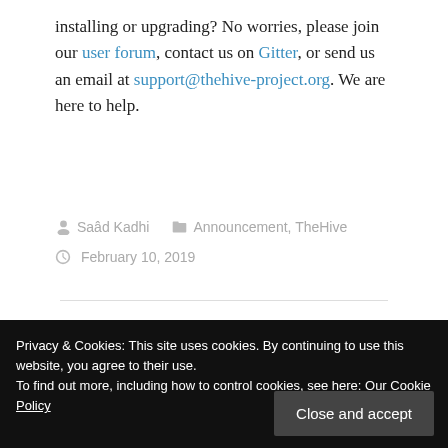installing or upgrading? No worries, please join our user forum, contact us on Gitter, or send us an email at support@thehive-project.org. We are here to help.
Saâd Kadhi   Announcement, TheHive   February 10, 2019
TheHive4py 1.5.1 Released
Privacy & Cookies: This site uses cookies. By continuing to use this website, you agree to their use. To find out more, including how to control cookies, see here: Our Cookie Policy
allow you to easily create alert feeders, automate certain